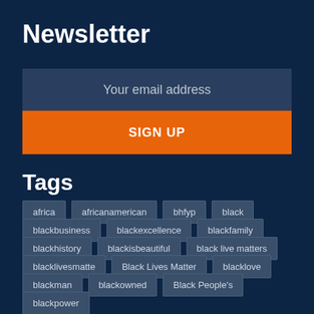Newsletter
Your email address
SIGN UP
Tags
africa
africanamerican
bhfyp
black
blackbusiness
blackexcellence
blackfamily
blackhistory
blackisbeautiful
black live matters
blacklivesmatte
Black Lives Matter
blacklove
blackman
blackowned
Black People's
blackpower